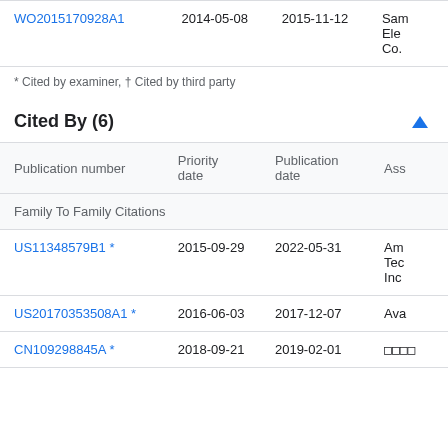| Publication number | Priority date | Publication date | Ass… |
| --- | --- | --- | --- |
| WO2015170928A1 | 2014-05-08 | 2015-11-12 | Sam Ele Co. |
* Cited by examiner, † Cited by third party
Cited By (6)
| Publication number | Priority date | Publication date | Ass… |
| --- | --- | --- | --- |
| Family To Family Citations |  |  |  |
| US11348579B1 * | 2015-09-29 | 2022-05-31 | Am Tec Inc |
| US20170353508A1 * | 2016-06-03 | 2017-12-07 | Ava |
| CN109298845A * | 2018-09-21 | 2019-02-01 | □□□□ |